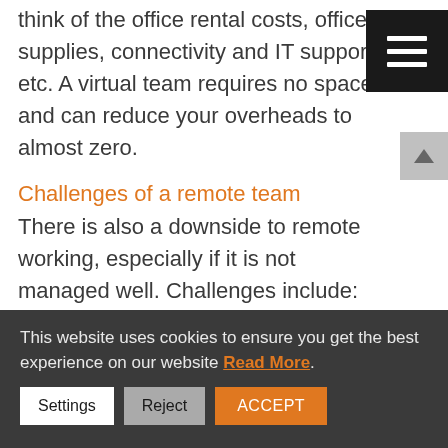think of the office rental costs, office supplies, connectivity and IT support etc. A virtual team requires no space and can reduce your overheads to almost zero.
Challenges of a remote team
There is also a downside to remote working, especially if it is not managed well. Challenges include:
A breakdown in communication
Scheduling – especially across time
This website uses cookies to ensure you get the best experience on our website Read More.
Settings | Reject | ACCEPT